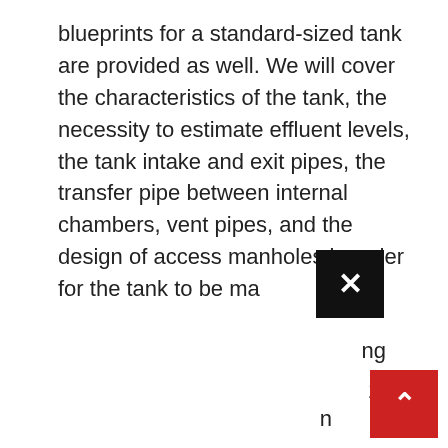blueprints for a standard-sized tank are provided as well. We will cover the characteristics of the tank, the necessity to estimate effluent levels, the tank intake and exit pipes, the transfer pipe between internal chambers, vent pipes, and the design of access manholes in order for the tank to be ma
[Figure (other): Black close button (X) UI element overlapping the text]
ng
1
n
[Figure (other): Red scroll-to-top button with upward arrow chevron]